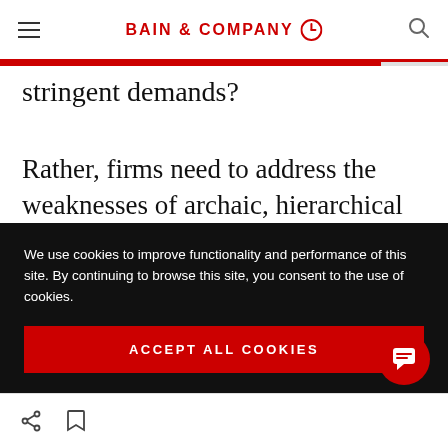BAIN & COMPANY
stringent demands?
Rather, firms need to address the weaknesses of archaic, hierarchical workplaces; reassess their core values; and root out poor behaviour that discourages a diversity of input and representation. These actions will require a true
We use cookies to improve functionality and performance of this site. By continuing to browse this site, you consent to the use of cookies.
ACCEPT ALL COOKIES